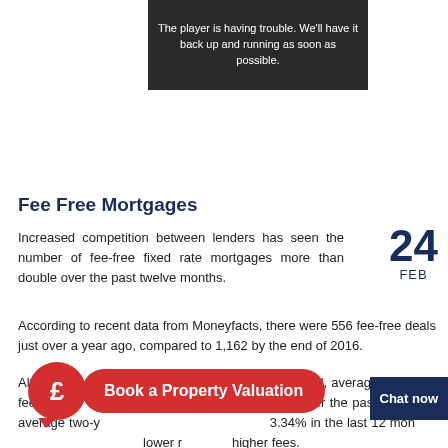[Figure (screenshot): Video player error message on dark background: 'The player is having trouble. We'll have it back up and running as soon as possible.']
Fee Free Mortgages
Increased competition between lenders has seen the number of fee-free fixed rate mortgages more than double over the past twelve months.
24 FEB
According to recent data from Moneyfacts, there were 556 fee-free deals just over a year ago, compared to 1,162 by the end of 2016.
Although the number of fee-free deals has increased, average fixed rate fees have gone up by £30 from £954 to £984 over the past year. The average two-year fixed rate has fallen by 0.34% in the last 12 months, so borrowers can get lower rates but higher fees.
[Figure (infographic): Red circular icon with pound sign and speech bubble, alongside red pill-shaped banner reading 'Book a Property Valuation']
Chat now